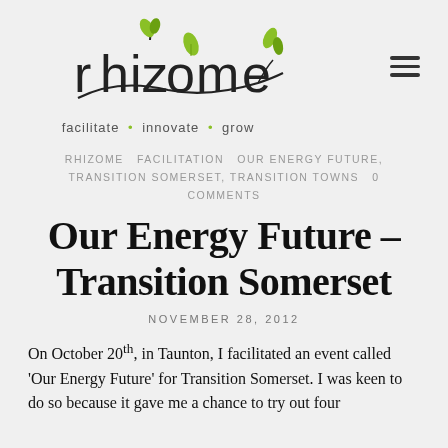[Figure (logo): Rhizome logo with stylized plant/branch lettering and green leaf accents, tagline: facilitate • innovate • grow]
RHIZOME  FACILITATION  OUR ENERGY FUTURE, TRANSITION SOMERSET, TRANSITION TOWNS  0 COMMENTS
Our Energy Future – Transition Somerset
NOVEMBER 28, 2012
On October 20th, in Taunton, I facilitated an event called 'Our Energy Future' for Transition Somerset. I was keen to do so because it gave me a chance to try out four